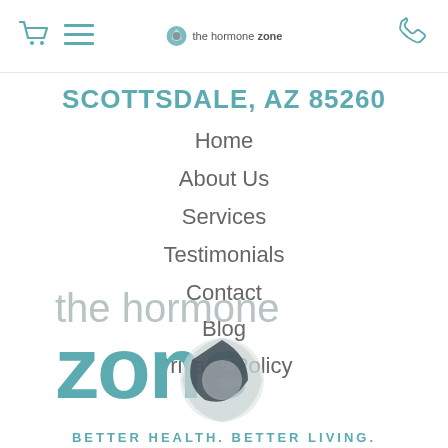[Figure (logo): Navigation bar with cart icon, hamburger menu, The Hormone Zone logo in center, and phone icon on right]
SCOTTSDALE, AZ 85260
Home
About Us
Services
Testimonials
Contact
Blog
Privacy Policy
[Figure (logo): The Hormone Zone large logo with teal text and camera-lens style graphic, with tagline BETTER HEALTH. BETTER LIVING.]